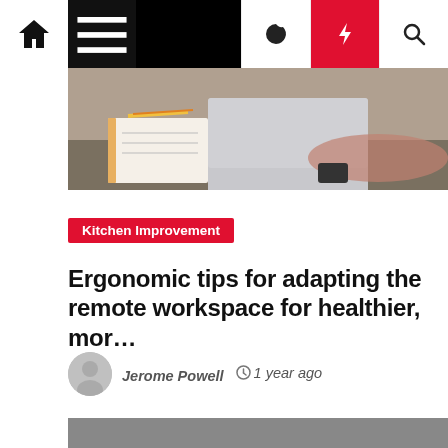Navigation bar with home, menu, dark mode, lightning, and search icons
[Figure (photo): Partial photo of a person at a desk with a laptop and notebook, article hero image]
Kitchen Improvement
Ergonomic tips for adapting the remote workspace for healthier, mor…
Jerome Powell  1 year ago
[Figure (photo): Gray placeholder image for next article]